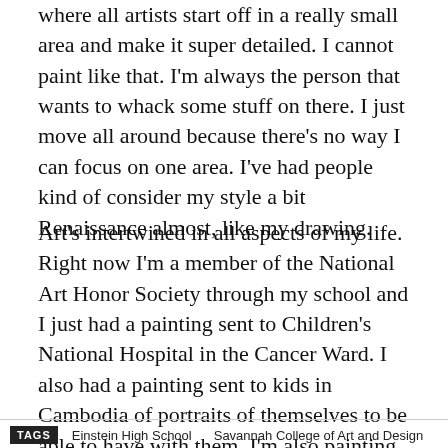where all artists start off in a really small area and make it super detailed. I cannot paint like that. I'm always the person that wants to whack some stuff on there. I just move all around because there's no way I can focus on one area. I've had people kind of consider my style a bit Renaissance almost, like my drawing.
Art's intertwined in all aspects of my life. Right now I'm a member of the National Art Honor Society through my school and I just had a painting sent to Children's National Hospital in the Cancer Ward. I also had a painting sent to kids in Cambodia of portraits of themselves to be able to have with them. I'm also painting a large scale mural for my school.
TAGS   Einstein High School   Savannah College of Art and Design